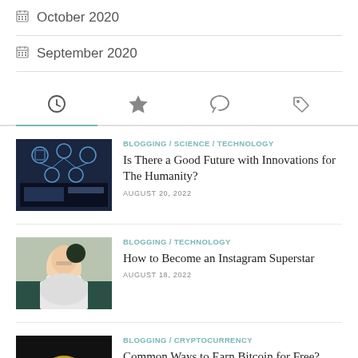October 2020
September 2020
[Figure (infographic): Four tab icons: clock (active/selected), star, speech bubble, tag]
BLOGGING / SCIENCE / TECHNOLOGY — Is There a Good Future with Innovations for The Humanity? — AUGUST 20, 2022
BLOGGING / TECHNOLOGY — How to Become an Instagram Superstar — AUGUST 18, 2022
BLOGGING / CRYPTOCURRENCY — Common Ways to Earn Bitcoin for Free?